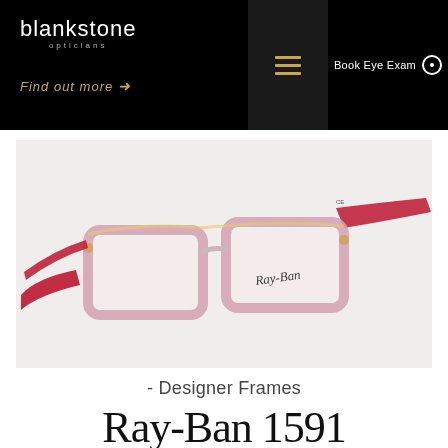blankstone opticians
Find out more →
Book Eye Exam
[Figure (photo): Ray-Ban 1591 eyeglasses with clear/pink transparent rectangular frames and red temple arms, displayed at an angle on a light background]
- Designer Frames
Ray-Ban 1591